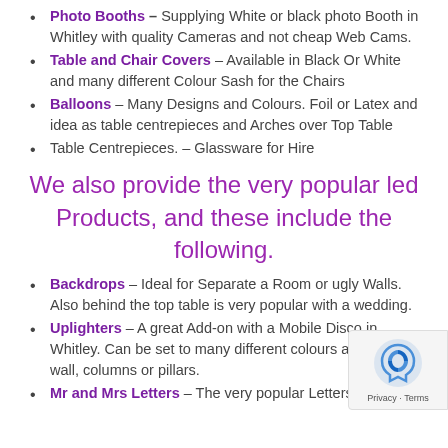Photo Booths – Supplying White or black photo Booth in Whitley with quality Cameras and not cheap Web Cams.
Table and Chair Covers – Available in Black Or White and many different Colour Sash for the Chairs
Balloons – Many Designs and Colours. Foil or Latex and idea as table centrepieces and Arches over Top Table
Table Centrepieces. – Glassware for Hire
We also provide the very popular led Products, and these include the following.
Backdrops – Ideal for Separate a Room or ugly Walls. Also behind the top table is very popular with a wedding.
Uplighters – A great Add-on with a Mobile Disco in Whitley. Can be set to many different colours against a wall, columns or pillars.
Mr and Mrs Letters – The very popular Letters and great